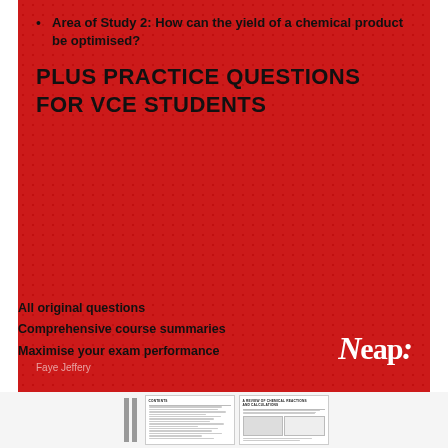Area of Study 2: How can the yield of a chemical product be optimised?
PLUS PRACTICE QUESTIONS FOR VCE STUDENTS
All original questions
Comprehensive course summaries
Maximise your exam performance
Faye Jeffery
[Figure (logo): Neap logo in white italic serif font with colon]
[Figure (other): Two small thumbnail previews of interior pages showing contents and chapter text]